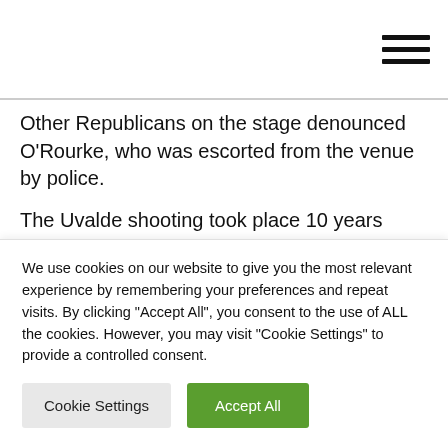[Hamburger menu icon]
Other Republicans on the stage denounced O'Rourke, who was escorted from the venue by police.
The Uvalde shooting took place 10 years after the only deadlier massacre at a U.S. elementary school, in Newtown, Connecticut, in 2012.
That incident prompted Connecticut state lawmakers to pass
We use cookies on our website to give you the most relevant experience by remembering your preferences and repeat visits. By clicking "Accept All", you consent to the use of ALL the cookies. However, you may visit "Cookie Settings" to provide a controlled consent.